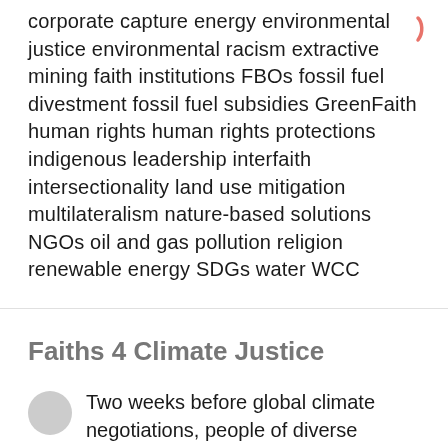corporate capture energy environmental justice environmental racism extractive mining faith institutions FBOs fossil fuel divestment fossil fuel subsidies GreenFaith human rights human rights protections indigenous leadership interfaith intersectionality land use mitigation multilateralism nature-based solutions NGOs oil and gas pollution religion renewable energy SDGs water WCC
Faiths 4 Climate Justice
Two weeks before global climate negotiations, people of diverse religions will